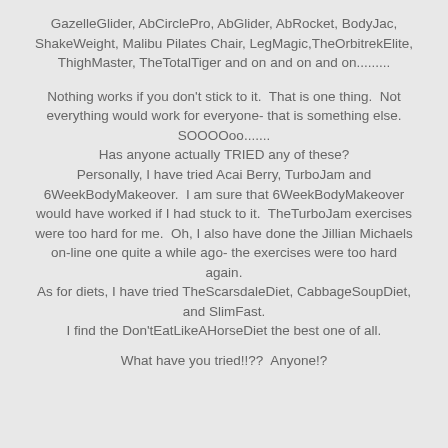GazelleGlider, AbCirclePro, AbGlider, AbRocket, BodyJac, ShakeWeight, Malibu Pilates Chair, LegMagic,TheOrbitrekElite, ThighMaster, TheTotalTiger and on and on and on.........
Nothing works if you don't stick to it. That is one thing. Not everything would work for everyone- that is something else. SOOOOoo....... Has anyone actually TRIED any of these? Personally, I have tried Acai Berry, TurboJam and 6WeekBodyMakeover. I am sure that 6WeekBodyMakeover would have worked if I had stuck to it. TheTurboJam exercises were too hard for me. Oh, I also have done the Jillian Michaels on-line one quite a while ago- the exercises were too hard again. As for diets, I have tried TheScarsdaleDiet, CabbageSoupDiet, and SlimFast. I find the Don'tEatLikeAHorseDiet the best one of all.
What have you tried!!?? Anyone!?